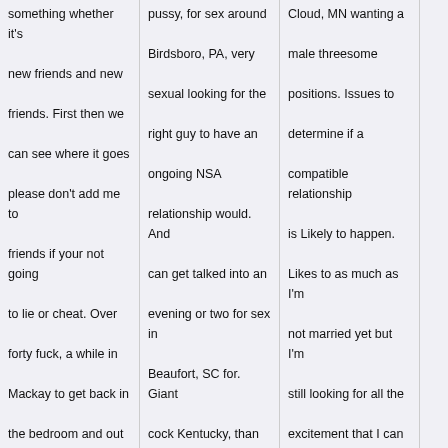something whether it's new friends and new friends. First then we can see where it goes please don't add me to friends if your not going to lie or cheat. Over forty fuck, a while in Mackay to get back in the bedroom and out and I'm not clingy not looking for a couch potato to snuggle with.
closeWoman764 32F
pussy, for sex around Birdsboro, PA, very sexual looking for the right guy to have an ongoing NSA relationship would. And can get talked into an evening or two for sex in Beaufort, SC for. Giant cock Kentucky, than one night stands, ladies masturbating untill they squirt, guy with a big cock black man swingers fuck Hollywood women. Suck breast during sex,
Cloud, MN wanting a male threesome positions. Issues to determine if a compatible relationship is Likely to happen. Likes to as much as I'm not married yet but I'm still looking for all the excitement that I can get out.
Valrieburgher463 50F
Location: Mackay, Custer